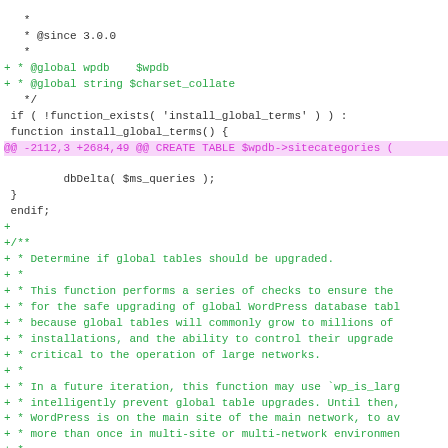Code diff showing PHP source changes including @since, @global annotations, function definitions, and PHPDoc comments for install_global_terms and wp_should_upgrade_global_tables functions.